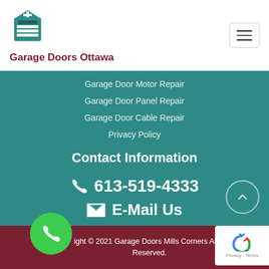Garage Doors Ottawa
Garage Door Motor Repair
Garage Door Panel Repair
Garage Door Cable Repair
Privacy Policy
Contact Information
613-519-4333
E-Mail Us
ight © 2021 Garage Doors Mills Corners All R Reserved.